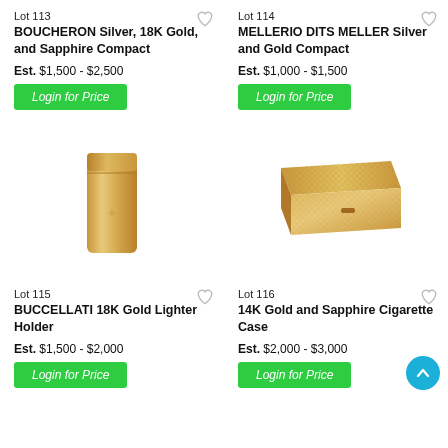Lot 113
BOUCHERON Silver, 18K Gold, and Sapphire Compact
Est.  $1,500 - $2,500
Login for Price
Lot 114
MELLERIO DITS MELLER Silver and Gold Compact
Est.  $1,000 - $1,500
Login for Price
[Figure (photo): BUCCELLATI 18K Gold Lighter Holder - gold rectangular lighter]
[Figure (photo): 14K Gold and Sapphire Cigarette Case - gold textured rectangular box]
Lot 115
BUCCELLATI 18K Gold Lighter Holder
Est.  $1,500 - $2,000
Login for Price
Lot 116
14K Gold and Sapphire Cigarette Case
Est.  $2,000 - $3,000
Login for Price